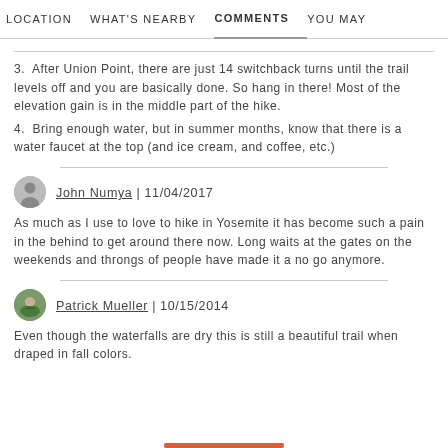LOCATION   WHAT'S NEARBY   COMMENTS   YOU MAY
3. After Union Point, there are just 14 switchback turns until the trail levels off and you are basically done. So hang in there! Most of the elevation gain is in the middle part of the hike.
4. Bring enough water, but in summer months, know that there is a water faucet at the top (and ice cream, and coffee, etc.)
John Numya | 11/04/2017
As much as I use to love to hike in Yosemite it has become such a pain in the behind to get around there now. Long waits at the gates on the weekends and throngs of people have made it a no go anymore.
Patrick Mueller | 10/15/2014
Even though the waterfalls are dry this is still a beautiful trail when draped in fall colors.